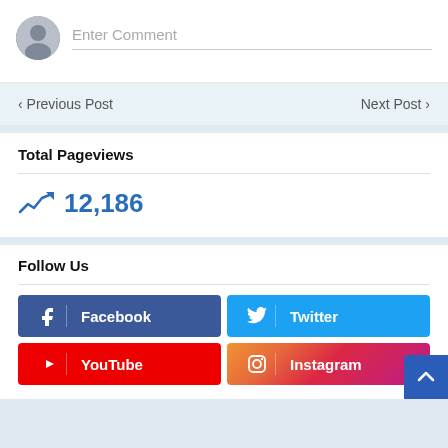[Figure (other): User avatar icon (grey silhouette) with 'Enter Comment' placeholder text input field below]
< Previous Post    Next Post >
Total Pageviews
12,186
Follow Us
[Figure (infographic): Social media follow buttons: Facebook (dark blue), Twitter (light blue), YouTube (red), Instagram (gradient pink/purple)]